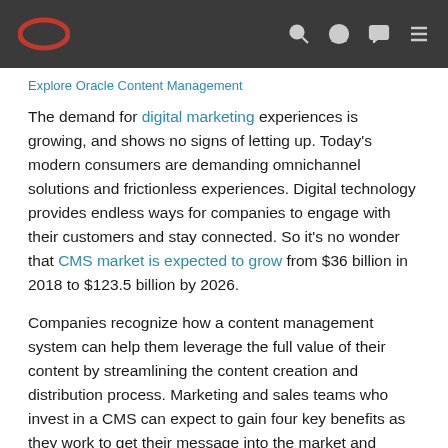Oracle logo navigation bar with search, account, chat, and menu icons
Explore Oracle Content Management
The demand for digital marketing experiences is growing, and shows no signs of letting up. Today's modern consumers are demanding omnichannel solutions and frictionless experiences. Digital technology provides endless ways for companies to engage with their customers and stay connected. So it's no wonder that CMS market is expected to grow from $36 billion in 2018 to $123.5 billion by 2026.
Companies recognize how a content management system can help them leverage the full value of their content by streamlining the content creation and distribution process. Marketing and sales teams who invest in a CMS can expect to gain four key benefits as they work to get their message into the market and improve customer experiences.
1 Stronger collaboration and organization